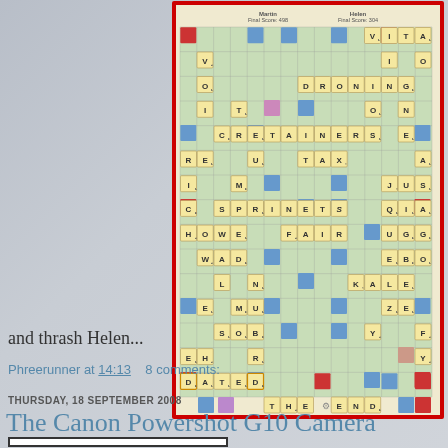[Figure (screenshot): Scrabble board game screenshot showing a completed game between Martin (Final Score: 498) and Helen (Final Score: 304), with tiles placed forming words including DRONING, RETAINERS, SPINETS, HOWE, WAD, EMU, SOB, DATED, THEEND, and others on a standard 15x15 Scrabble board with colored bonus squares]
and thrash Helen...
Phreerunner at 14:13   8 comments:
THURSDAY, 18 SEPTEMBER 2008
The Canon Powershot G10 Camera
[Figure (photo): Partial bottom image box, cropped]